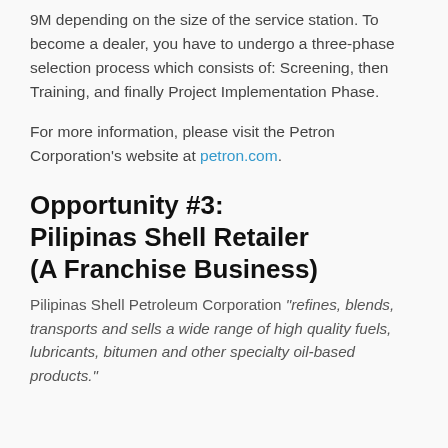9M depending on the size of the service station. To become a dealer, you have to undergo a three-phase selection process which consists of: Screening, then Training, and finally Project Implementation Phase.
For more information, please visit the Petron Corporation's website at petron.com.
Opportunity #3: Pilipinas Shell Retailer (A Franchise Business)
Pilipinas Shell Petroleum Corporation "refines, blends, transports and sells a wide range of high quality fuels, lubricants, bitumen and other specialty oil-based products."